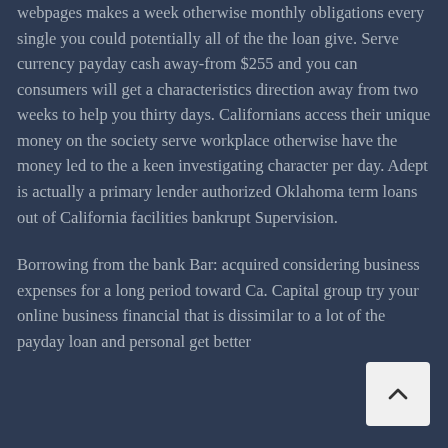webpages makes a week otherwise monthly obligations every single you could potentially all of the the loan give. Serve currency payday cash away-from $255 and you can consumers will get a characteristics direction away from two weeks to help you thirty days. Californians access their unique money on the society serve workplace otherwise have the money led to the a keen investigating character per day. Adept is actually a primary lender authorized Oklahoma term loans out of California facilities bankrupt Supervision.
Borrowing from the bank Bar: acquired considering business expenses for a long period toward Ca. Capital group try your online business financial that is dissimilar to a lot of the payday loan and personal get better